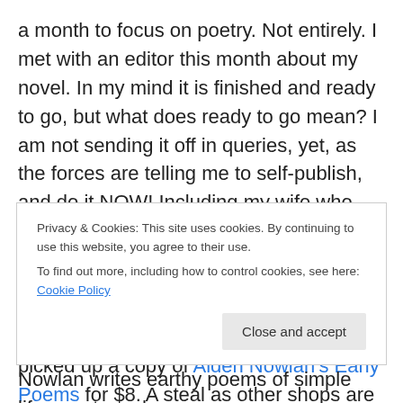a month to focus on poetry. Not entirely. I met with an editor this month about my novel. In my mind it is finished and ready to go, but what does ready to go mean? I am not sending it off in queries, yet, as the forces are telling me to self-publish, and do it NOW! Including my wife who has finally read my work. More on that later.
I read one complete book of poetry this month and about 30 pages of another. I picked up a copy of Alden Nowlan's Early Poems for $8. A steal as other shops are charging $30-$40 for this 1983, posthumous publication by UNB's
Privacy & Cookies: This site uses cookies. By continuing to use this website, you agree to their use.
To find out more, including how to control cookies, see here: Cookie Policy
Close and accept
Nowlan writes earthy poems of simple life-events and